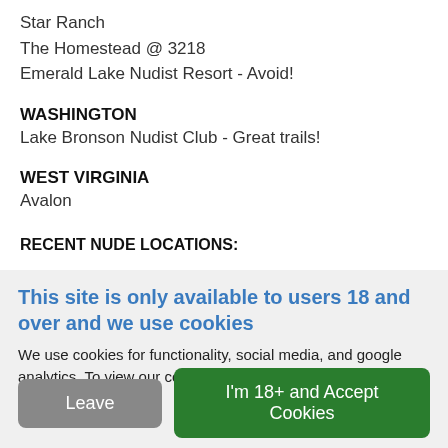Star Ranch
The Homestead @ 3218
Emerald Lake Nudist Resort - Avoid!
WASHINGTON
Lake Bronson Nudist Club - Great trails!
WEST VIRGINIA
Avalon
RECENT NUDE LOCATIONS:
This site is only available to users 18 and over and we use cookies
We use cookies for functionality, social media, and google analytics. To view our cookie policy please view Our Cookie Policy